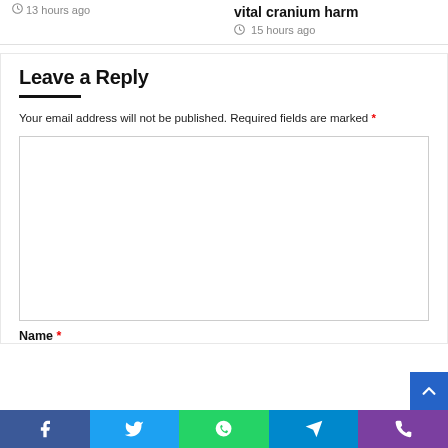13 hours ago
vital cranium harm
15 hours ago
Leave a Reply
Your email address will not be published. Required fields are marked *
Name *